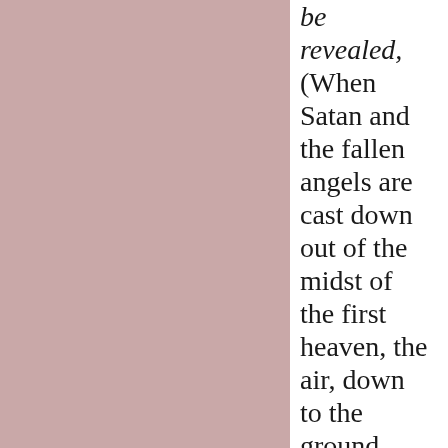be revealed, (When Satan and the fallen angels are cast down out of the midst of the first heaven, the air, down to the ground then Satan